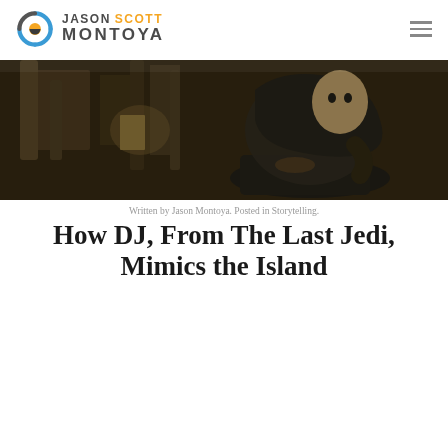JASON SCOTT MONTOYA
[Figure (photo): A man in a dark hooded cloak sitting on the floor in a dimly lit, ornate interior setting — a scene from Star Wars: The Last Jedi featuring the character DJ.]
Written by Jason Montoya. Posted in Storytelling.
How DJ, From The Last Jedi, Mimics the Island